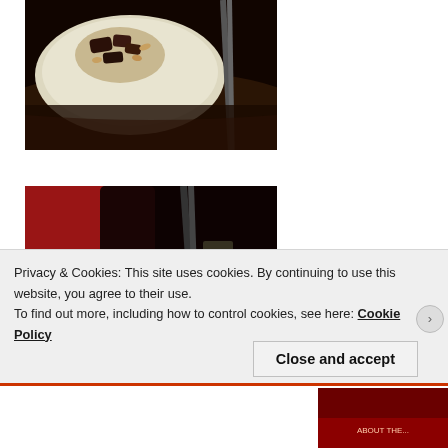[Figure (photo): Food dish on a white plate with chopsticks in a dark restaurant setting]
[Figure (photo): Close-up of chopsticks and a glass or candle in a dark restaurant setting with red background]
Privacy & Cookies: This site uses cookies. By continuing to use this website, you agree to their use.
To find out more, including how to control cookies, see here: Cookie Policy
Close and accept